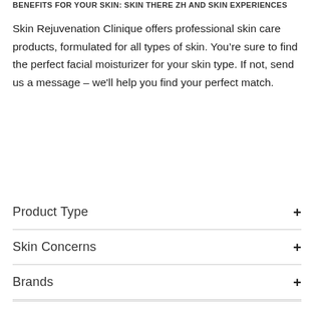BENEFITS FOR YOUR SKIN: SKIN THERE ZH AND SKIN EXPERIENCES
Skin Rejuvenation Clinique offers professional skin care products, formulated for all types of skin. You’re sure to find the perfect facial moisturizer for your skin type. If not, send us a message – we'll help you find your perfect match.
Product Type +
Skin Concerns +
Brands +